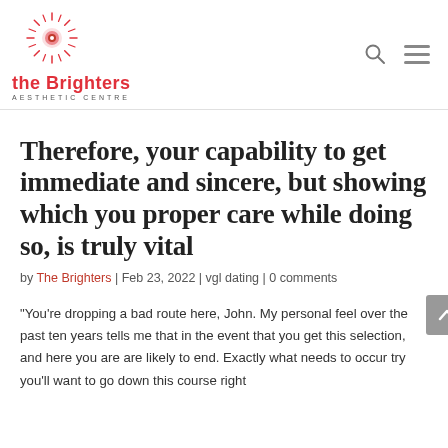the Brighters AESTHETIC CENTRE
Therefore, your capability to get immediate and sincere, but showing which you proper care while doing so, is truly vital
by The Brighters | Feb 23, 2022 | vgl dating | 0 comments
"You're dropping a bad route here, John. My personal feel over the past ten years tells me that in the event that you get this selection, and here you are are likely to end. Exactly what needs to occur try you'll want to go down this course right